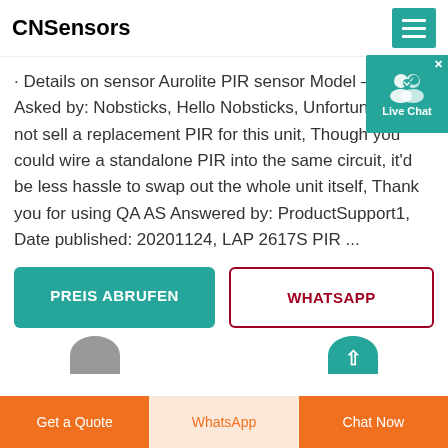CNSensors
· Details on sensor Aurolite PIR sensor Model – AL00... Asked by: Nobsticks, Hello Nobsticks, Unfortunately, not sell a replacement PIR for this unit, Though you could wire a standalone PIR into the same circuit, it'd be less hassle to swap out the whole unit itself, Thank you for using QA AS Answered by: ProductSupport1, Date published: 20201124, LAP 2617S PIR ...
[Figure (other): Live Chat widget button in teal/green with people icon]
[Figure (other): PREIS ABRUFEN green button and WHATSAPP outlined red button]
[Figure (other): Bottom navigation bar with Get a Quote, WhatsApp, and Chat Now buttons in orange and light peach colors]